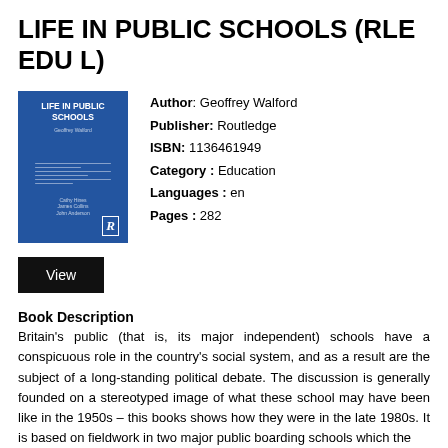LIFE IN PUBLIC SCHOOLS (RLE EDU L)
[Figure (illustration): Book cover of 'Life in Public Schools' with blue background and Routledge logo]
Author: Geoffrey Walford
Publisher: Routledge
ISBN: 1136461949
Category : Education
Languages : en
Pages : 282
View
Book Description
Britain’s public (that is, its major independent) schools have a conspicuous role in the country’s social system, and as a result are the subject of a long-standing political debate. The discussion is generally founded on a stereotyped image of what these school may have been like in the 1950s – this books shows how they were in the late 1980s. It is based on fieldwork in two major public boarding schools which the